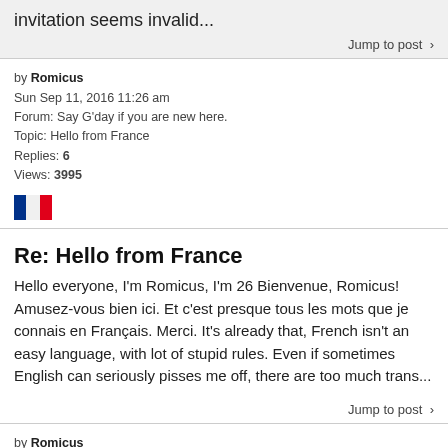invitation seems invalid...
Jump to post >
by Romicus
Sun Sep 11, 2016 11:26 am
Forum: Say G'day if you are new here.
Topic: Hello from France
Replies: 6
Views: 3995
[Figure (illustration): French flag emoji/icon]
Re: Hello from France
Hello everyone, I'm Romicus, I'm 26 Bienvenue, Romicus! Amusez-vous bien ici. Et c'est presque tous les mots que je connais en Français. Merci. It's already that, French isn't an easy language, with lot of stupid rules. Even if sometimes English can seriously pisses me off, there are too much trans...
Jump to post >
by Romicus
Sat Sep 10, 2016 9:36 am
Forum: Say G'day if you are new here.
Topic: Hello from France
Replies: 6
Views: 3995
[Figure (illustration): French flag emoji/icon (partial)]